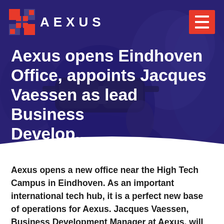[Figure (photo): Hero image of a person wearing a VR headset with a dark purple/blue overlay, showing the Aexus logo and navigation bar at the top]
AEXUS
Aexus opens Eindhoven Office, appoints Jacques Vaessen as lead Business Develop...
Aexus opens a new office near the High Tech Campus in Eindhoven. As an important international tech hub, it is a perfect new base of operations for Aexus. Jacques Vaessen, Business Development Manager at Aexus, will manage the Eindhoven